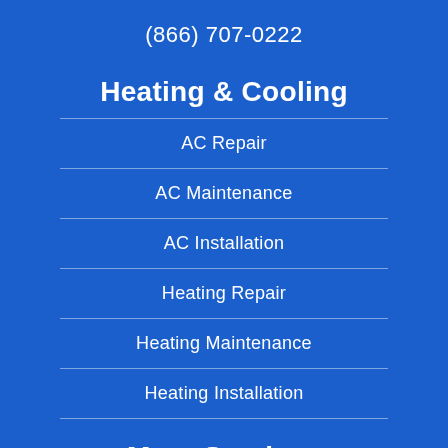(866) 707-0222
Heating & Cooling
AC Repair
AC Maintenance
AC Installation
Heating Repair
Heating Maintenance
Heating Installation
More Services
Indoor Air Quality